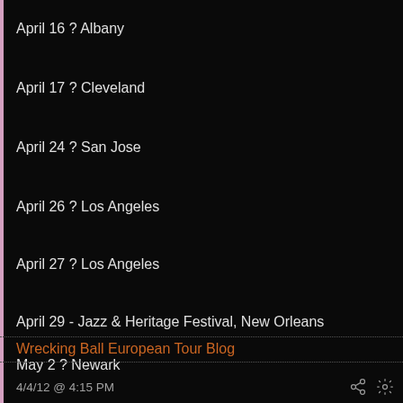April 16 ? Albany
April 17 ? Cleveland
April 24 ? San Jose
April 26 ? Los Angeles
April 27 ? Los Angeles
April 29 - Jazz & Heritage Festival, New Orleans
May 2 ? Newark
Wrecking Ball European Tour Blog
4/4/12  @  4:15 PM